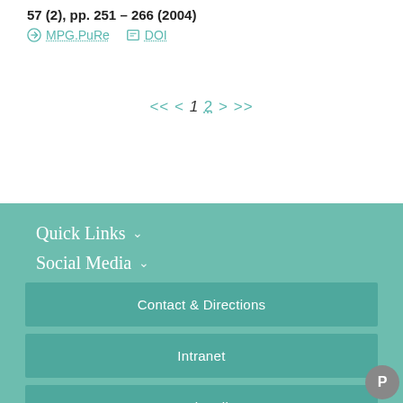57 (2), pp. 251 – 266 (2004)
MPG.PuRe   DOI
<< < 1 2 > >>
Quick Links
Social Media
Contact & Directions
Intranet
Webmail